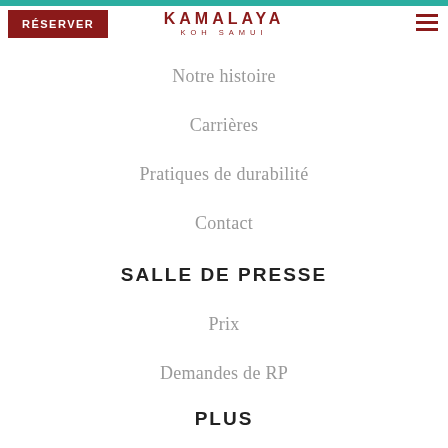RÉSERVER | KAMALAYA KOH SAMUI
Notre histoire
Carrières
Pratiques de durabilité
Contact
SALLE DE PRESSE
Prix
Demandes de RP
PLUS
Collectif Kamalaya